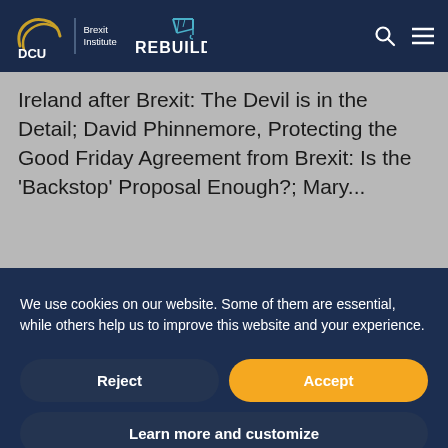[Figure (logo): DCU Brexit Institute and REBUILD logos in dark navy header bar with search and menu icons]
Ireland after Brexit: The Devil is in the Detail; David Phinnemore, Protecting the Good Friday Agreement from Brexit: Is the 'Backstop' Proposal Enough?; Mary...
We use cookies on our website. Some of them are essential, while others help us to improve this website and your experience.